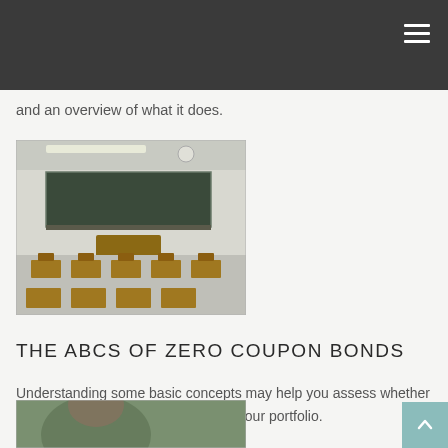and an overview of what it does.
[Figure (photo): Empty classroom with rows of wooden student desks and chairs, a chalkboard at the front, and fluorescent lighting on the ceiling.]
THE ABCS OF ZERO COUPON BONDS
Understanding some basic concepts may help you assess whether zero-coupon bonds have a place in your portfolio.
[Figure (photo): Partial view of a person, blurred background, cropped at bottom of page.]